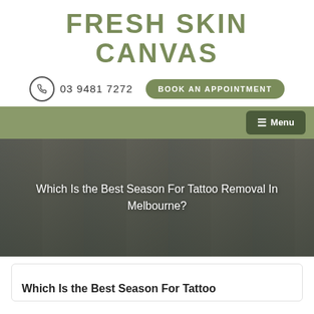FRESH SKIN CANVAS
03 9481 7272
BOOK AN APPOINTMENT
☰ Menu
[Figure (photo): Interior photo of a medical/beauty clinic with white walls, shelving with products, and clinical equipment, shown in a darkened hero banner]
Which Is the Best Season For Tattoo Removal In Melbourne?
Which Is the Best Season For Tattoo